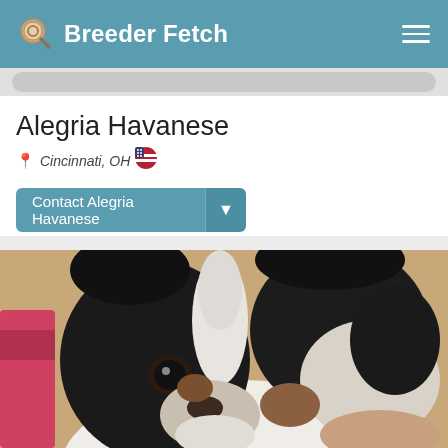Breeder Fetch
Alegria Havanese
Cincinnati, OH 🇺🇸
Contact Alegria Havanese
[Figure (photo): Close-up photo of a Havanese puppy with black and white fur, looking at the camera with dark eyes. A pink object is visible in the background.]